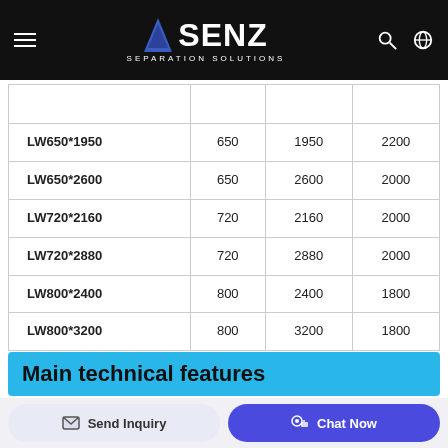SENZ SEPARATION SOLUTIONS
|  |  |  |  |
| --- | --- | --- | --- |
| LW650*1950 | 650 | 1950 | 2200 |
| LW650*2600 | 650 | 2600 | 2000 |
| LW720*2160 | 720 | 2160 | 2000 |
| LW720*2880 | 720 | 2880 | 2000 |
| LW800*2400 | 800 | 2400 | 1800 |
| LW800*3200 | 800 | 3200 | 1800 |
Main technical features
Send Inquiry
Chat Now